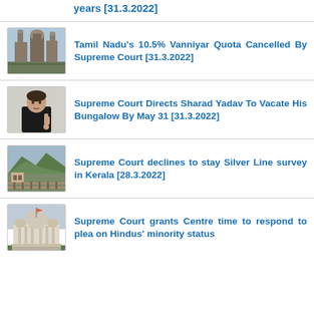years [31.3.2022]
[Figure (photo): Photo of Madras High Court building with domed towers]
Tamil Nadu's 10.5% Vanniyar Quota Cancelled By Supreme Court [31.3.2022]
[Figure (photo): Photo of Sharad Yadav gesturing with finger]
Supreme Court Directs Sharad Yadav To Vacate His Bungalow By May 31 [31.3.2022]
[Figure (photo): Photo of hills and railway area in Kerala]
Supreme Court declines to stay Silver Line survey in Kerala [28.3.2022]
[Figure (photo): Photo of Supreme Court building]
Supreme Court grants Centre time to respond to plea on Hindus' minority status